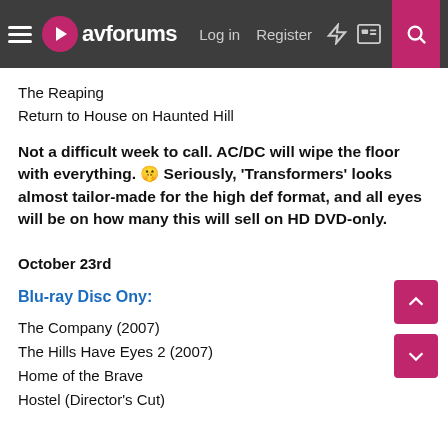avforums — Log in  Register
The Reaping
Return to House on Haunted Hill
Not a difficult week to call. AC/DC will wipe the floor with everything. 🤫 Seriously, 'Transformers' looks almost tailor-made for the high def format, and all eyes will be on how many this will sell on HD DVD-only.
October 23rd
Blu-ray Disc Ony:
The Company (2007)
The Hills Have Eyes 2 (2007)
Home of the Brave
Hostel (Director's Cut)